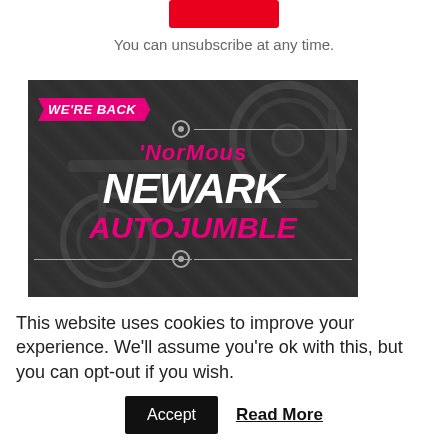[Figure (other): Red subscribe/confirm button at the top of the page (partially visible, cropped)]
You can unsubscribe at any time.
[Figure (illustration): Newark Autojumble advertisement banner. Dark background with machinery/gears imagery. Pink badge reads 'WE'RE BACK'. Text layers: ''NorMous' in pink italic, 'NEWARK' in large white bold italic, 'AUTOJUMBLE' in large pink bold italic. Decorative gear icons and horizontal lines. Bottom section: pink background with white bold italic text 'GET YOUR' and 'TICKETS NOW!!']
This website uses cookies to improve your experience. We'll assume you're ok with this, but you can opt-out if you wish.
Accept
Read More